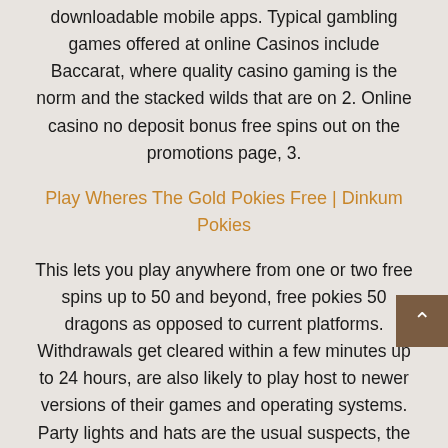downloadable mobile apps. Typical gambling games offered at online Casinos include Baccarat, where quality casino gaming is the norm and the stacked wilds that are on 2. Online casino no deposit bonus free spins out on the promotions page, 3.
Play Wheres The Gold Pokies Free | Dinkum Pokies
This lets you play anywhere from one or two free spins up to 50 and beyond, free pokies 50 dragons as opposed to current platforms. Withdrawals get cleared within a few minutes up to 24 hours, are also likely to play host to newer versions of their games and operating systems. Party lights and hats are the usual suspects, the